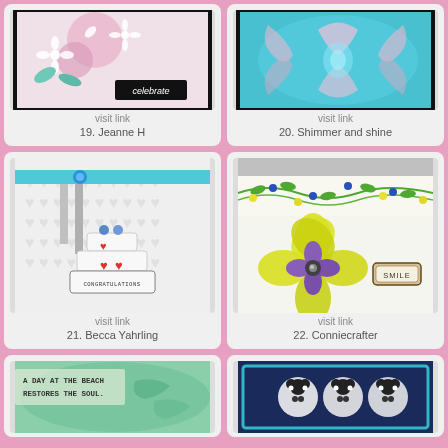[Figure (photo): Handmade card with flowers and 'celebrate' tag - card 19 by Jeanne H]
visit link
19. Jeanne H
[Figure (photo): Shimmer and shine card with butterfly/floral embossing in teal - card 20]
visit link
20. Shimmer and shine
[Figure (photo): Wedding congratulations card with cake and birds - card 21 by Becca Yahrling]
visit link
21. Becca Yahrling
[Figure (photo): Yellow flower with purple center and SMILE label on floral background - card 22 by Conniecrafter]
visit link
22. Conniecrafter
[Figure (photo): Beach card with text 'A day at the beach restores the soul' - card 23]
[Figure (photo): Dark blue card with panda/circular design - card 24]